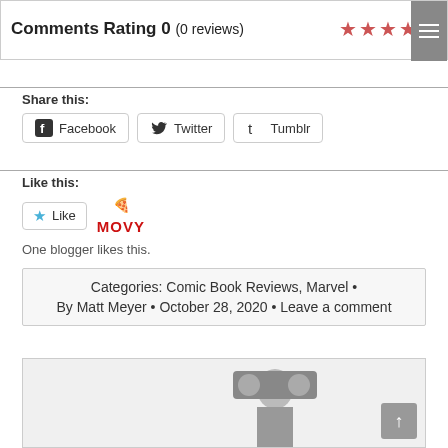Comments Rating 0 (0 reviews)
Share this:
Facebook  Twitter  Tumblr
Like this:
Like
One blogger likes this.
Categories: Comic Book Reviews, Marvel · By Matt Meyer · October 28, 2020 · Leave a comment
[Figure (photo): Partially visible figure of a person holding a large object, bottom of page]